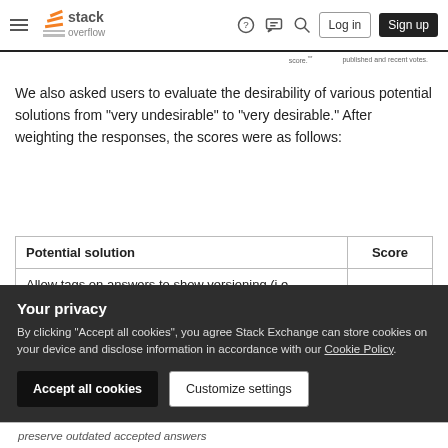Stack Exchange navigation bar with hamburger menu, logo, help, chat, search icons, Log in and Sign up buttons
We also asked users to evaluate the desirability of various potential solutions from "very undesirable" to "very desirable." After weighting the responses, the scores were as follows:
| Potential solution | Score |
| --- | --- |
| Allow tags on answers to show versioning (i.e., python-3.9.0) | 0.47 |
| [partially visible row] |  |
Your privacy
By clicking "Accept all cookies", you agree Stack Exchange can store cookies on your device and disclose information in accordance with our Cookie Policy.
Accept all cookies   Customize settings
preserve outdated accepted answers